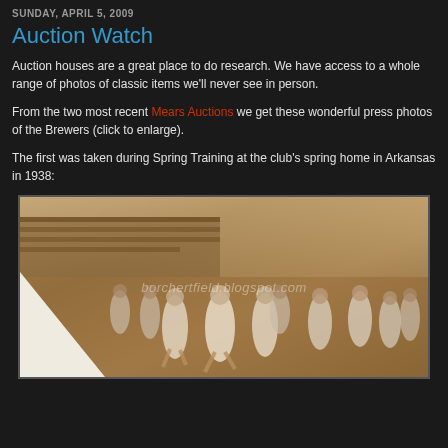SUNDAY, APRIL 5, 2009
Auction Watch
Auction houses are a great place to do research. We have access to a whole range of photos of classic items we'll never see in person.
From the two most recent Mears Auctions we get these wonderful press photos of the Brewers (click to enlarge).
The first was taken during Spring Training at the club's spring home in Arkansas in 1938:
[Figure (photo): Sepia-toned black and white press photo of Milwaukee Brewers baseball players in white uniforms with 'M' on their caps, running on a field during Spring Training in Arkansas, 1938. A white triangle shape appears in the lower left corner. Watermark text 'borchertfield.blogspot.com' is visible across the middle of the image.]